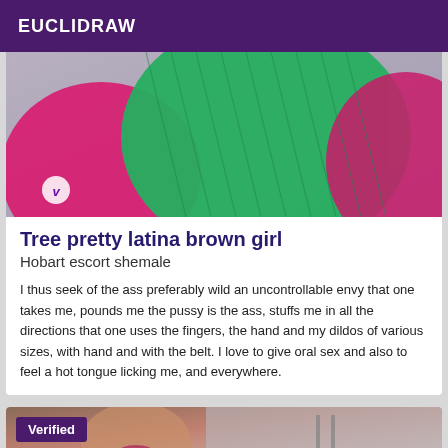EUCLIDRAW
[Figure (photo): Close-up photo of person wearing green and pink clothing, viewed from behind. A circular watermark with letter V is visible at bottom left.]
Tree pretty latina brown girl
Hobart escort shemale
I thus seek of the ass preferably wild an uncontrollable envy that one takes me, pounds me the pussy is the ass, stuffs me in all the directions that one uses the fingers, the hand and my dildos of various sizes, with hand and with the belt. I love to give oral sex and also to feel a hot tongue licking me, and everywhere.
[Figure (photo): Partial photo of a person, with a purple 'Verified' badge overlay in the top left corner.]